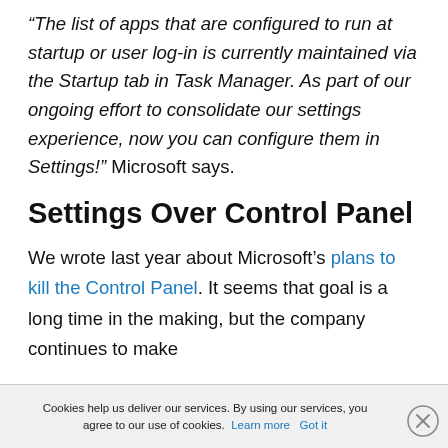“The list of apps that are configured to run at startup or user log-in is currently maintained via the Startup tab in Task Manager. As part of our ongoing effort to consolidate our settings experience, now you can configure them in Settings!” Microsoft says.
Settings Over Control Panel
We wrote last year about Microsoft’s plans to kill the Control Panel. It seems that goal is a long time in the making, but the company continues to make strides towards making Settings the control center of Windows 10.
Cookies help us deliver our services. By using our services, you agree to our use of cookies. Learn more   Got it